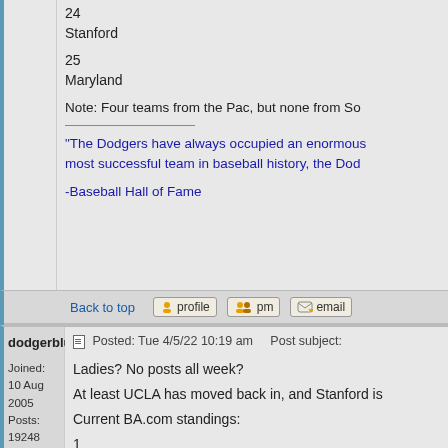24
Stanford
25
Maryland
Note: Four teams from the Pac, but none from So
"The Dodgers have always occupied an enormous most successful team in baseball history, the Dod

-Baseball Hall of Fame
Back to top
dodgerblue6
Joined: 10 Aug 2005
Posts: 19248
Location: San Diego CA - deep in the heart of SoCal
Posted: Tue 4/5/22 10:19 am    Post subject:
Ladies? No posts all week?
At least UCLA has moved back in, and Stanford is
Current BA.com standings:
1
Tennessee